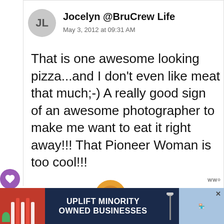JL
Jocelyn @BruCrew Life
May 3, 2012 at 09:31 AM
That is one awesome looking pizza...and I don't even like meat that much;-) A really good sign of an awesome photographer to make me want to eat it right away!!! That Pioneer Woman is too cool!!!
15
WHAT'S NEXT →
Heirloom
Tomato...
[Figure (photo): Pizza thumbnail circle image]
[Figure (infographic): Ad banner: UPLIFT MINORITY OWNED BUSINESSES with storefront illustration on dark blue background]